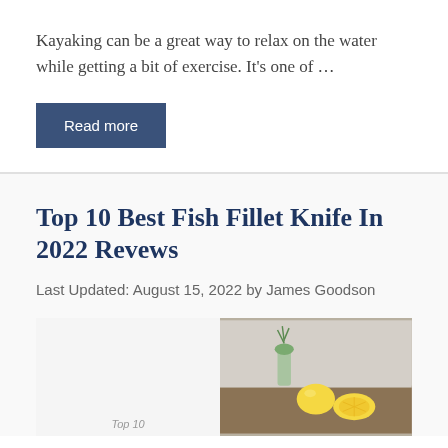Kayaking can be a great way to relax on the water while getting a bit of exercise. It's one of …
Read more
Top 10 Best Fish Fillet Knife In 2022 Revews
Last Updated: August 15, 2022 by James Goodson
[Figure (photo): Partially visible article image showing a white background on the left half with partial text, and a kitchen scene on the right with lemons and a glass vase with herbs on a wooden surface.]